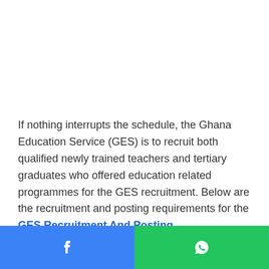If nothing interrupts the schedule, the Ghana Education Service (GES) is to recruit both qualified newly trained teachers and tertiary graduates who offered education related programmes for the GES recruitment. Below are the recruitment and posting requirements for the GES Recruitment And Posting.
[Figure (infographic): Footer bar split into two halves: left half is blue with a Facebook icon (circle with 'f'), right half is green with a WhatsApp icon (speech bubble with phone).]